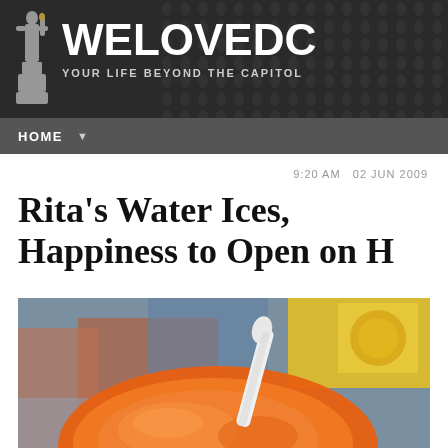WELOVEDC — YOUR LIFE BEYOND THE CAPITOL
HOME ▼
9:20 AM   02 JUN 2009
Rita's Water Ices, Happiness to Open on H
[Figure (photo): Close-up photo of an orange water ice/Italian ice in a cup with a white spoon, with a blurred street scene and yellow Rita's sign in the background]